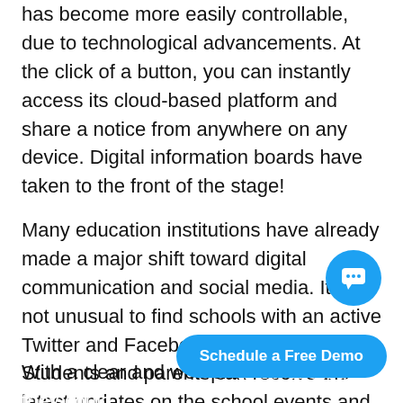has become more easily controllable, due to technological advancements. At the click of a button, you can instantly access its cloud-based platform and share a notice from anywhere on any device. Digital information boards have taken to the front of the stage!
Many education institutions have already made a major shift toward digital communication and social media. It is not unusual to find schools with an active Twitter and Facebook presence. Students and parents can receive the latest updates on the school events and important announcements in their digital media feed.
With a clear and well-pla...